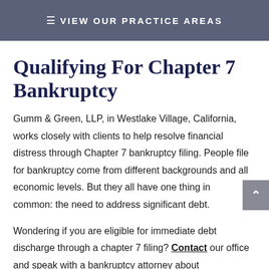≡ VIEW OUR PRACTICE AREAS
Qualifying For Chapter 7 Bankruptcy
Gumm & Green, LLP, in Westlake Village, California, works closely with clients to help resolve financial distress through Chapter 7 bankruptcy filing. People file for bankruptcy come from different backgrounds and all economic levels. But they all have one thing in common: the need to address significant debt.
Wondering if you are eligible for immediate debt discharge through a chapter 7 filing? Contact our office and speak with a bankruptcy attorney about